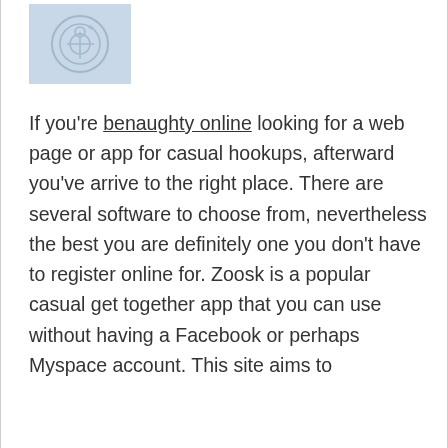[Figure (illustration): Light blue image placeholder with a circular icon graphic, possibly representing a user avatar or logo]
If you're benaughty online looking for a web page or app for casual hookups, afterward you've arrive to the right place. There are several software to choose from, nevertheless the best you are definitely one you don't have to register online for. Zoosk is a popular casual get together app that you can use without having a Facebook or perhaps Myspace account. This site aims to